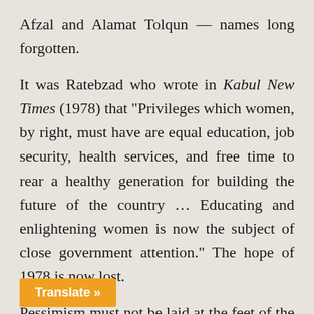Afzal and Alamat Tolqun — names long forgotten.
It was Ratebzad who wrote in Kabul New Times (1978) that "Privileges which women, by right, must have are equal education, job security, health services, and free time to rear a healthy generation for building the future of the country … Educating and enlightening women is now the subject of close government attention." The hope of 1978 is now lost.
Pessimism must not be laid at the feet of the Taliban alone, but also of those — such as the U.S., Saudi Arabia, Germany and Pakistan — who funded and supported the Taliban-like theocratic fascists. In the . war that began in 2001, women like